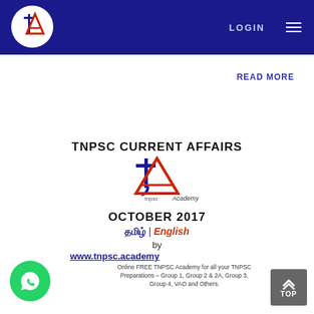TNPSC Academy - LOGIN
READ MORE
TNPSC CURRENT AFFAIRS
[Figure (logo): TNPSC Academy logo - large version with 'ta' letters and text 'tnpsc Academy']
OCTOBER 2017
தமிழ் | English
by
www.tnpsc.academy
Online FREE TNPSC Academy for all your TNPSC Preparations – Group 1, Group 2 & 2A, Group 3, Group 4, VAO and Others.